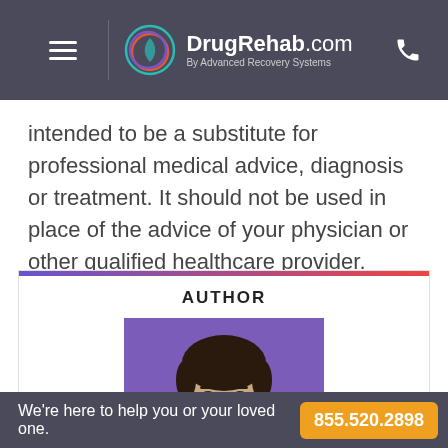DrugRehab.com By Advanced Recovery Systems
intended to be a substitute for professional medical advice, diagnosis or treatment. It should not be used in place of the advice of your physician or other qualified healthcare provider.
AUTHOR
[Figure (photo): Author headshot photo on purple background]
We're here to help you or your loved one. 855.520.2898